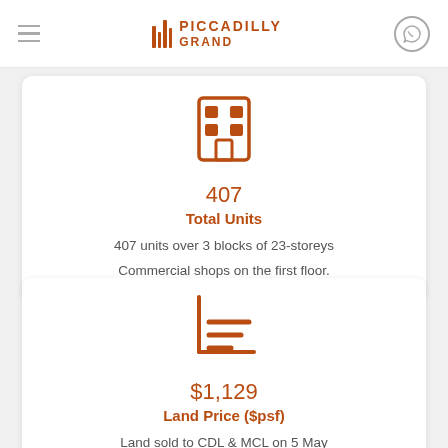PICCADILLY GRAND
[Figure (illustration): Building/apartment block icon in brown color]
407
Total Units
407 units over 3 blocks of 23-storeys
Commercial shops on the first floor.
[Figure (illustration): Bar chart / land price icon in brown color]
$1,129
Land Price ($psf)
Land sold to CDL & MCL on 5 May 2021